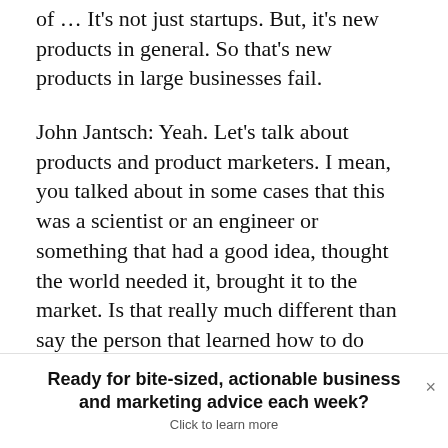of … It's not just startups. But, it's new products in general. So that's new products in large businesses fail.
John Jantsch: Yeah. Let's talk about products and product marketers. I mean, you talked about in some cases that this was a scientist or an engineer or something that had a good idea, thought the world needed it, brought it to the market. Is that really much different than say the person that learned how to do accounting, that started his accounting firm? And I…
Ready for bite-sized, actionable business and marketing advice each week?
Click to learn more